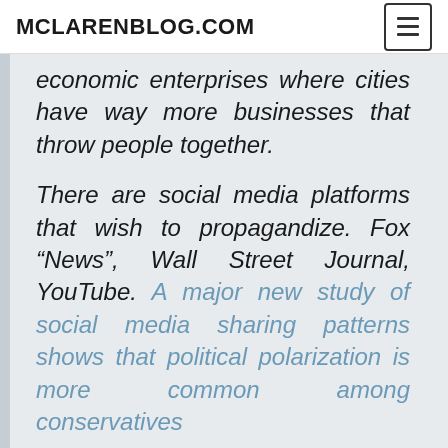MCLARENBLOG.COM
economic enterprises where cities have way more businesses that throw people together.
There are social media platforms that wish to propagandize. Fox “News”, Wall Street Journal, YouTube. A major new study of social media sharing patterns shows that political polarization is more common among conservatives